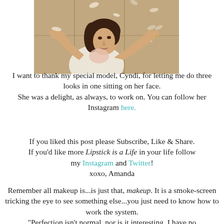[Figure (photo): A woman with dark hair looking upward with both hands raised, catching or tossing small pieces of paper that float around her. She wears a light-colored outfit. Background shows cabinet drawers.]
I want to thank my special model, Cyndi, for letting me do three looks in one sitting on her face. She was a delight, as always, to work on. You can follow her Instagram here.
If you liked this post please Subscribe, Like & Share. If you'd like more Lipstick is a Life in your life follow my Instagram and Twitter! xoxo, Amanda
Remember all makeup is...is just that, makeup. It is a smoke-screen tricking the eye to see something else...you just need to know how to work the system. "Perfection isn't normal, nor is it interesting. I have no